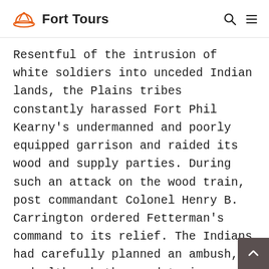Fort Tours
Resentful of the intrusion of white soldiers into unceded Indian lands, the Plains tribes constantly harassed Fort Phil Kearny's undermanned and poorly equipped garrison and raided its wood and supply parties. During such an attack on the wood train, post commandant Colonel Henry B. Carrington ordered Fetterman's command to its relief. The Indians had carefully planned an ambush, and although the wood train escaped to the fort, Fetterman's troops